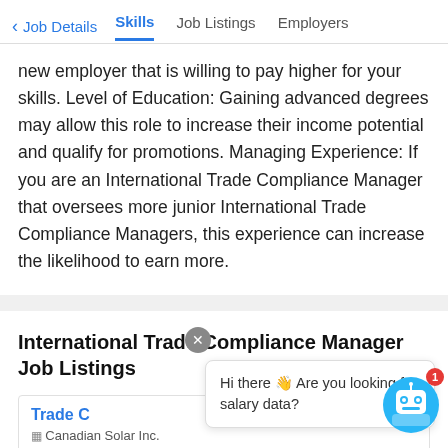< Job Details   Skills   Job Listings   Employers
new employer that is willing to pay higher for your skills. Level of Education: Gaining advanced degrees may allow this role to increase their income potential and qualify for promotions. Managing Experience: If you are an International Trade Compliance Manager that oversees more junior International Trade Compliance Managers, this experience can increase the likelihood to earn more.
International Trade Compliance Manager Job Listings
Trade C
Canadian Solar Inc.
Hi there 👋 Are you looking for salary data?